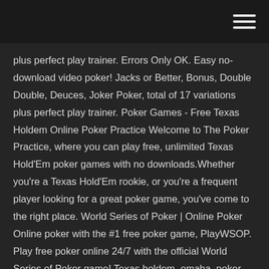plus perfect play trainer. Errors Only OK. Easy no-download video poker! Jacks or Better, Bonus, Double Double, Deuces, Joker Poker, total of 17 variations plus perfect play trainer. Poker Games - Free Texas Holdem Online Poker Practice Welcome to The Poker Practice, where you can play free, unlimited Texas Hold'Em poker games with no downloads.Whether you're a Texas Hold'Em rookie, or you're a frequent player looking for a great poker game, you've come to the right place. World Series of Poker | Online Poker Online poker with the #1 free poker game, PlayWSOP. Play free poker online 24/7 with the official World Series of Poker game! Texas holdem, omaha, poker tournaments, and more poker games! PlayWSOP is the only place where players can win a World Series of Poker Bracelet. Play now!